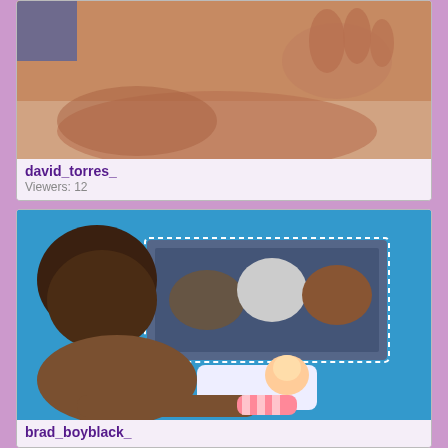[Figure (photo): Webcam thumbnail showing person on white background, partial body view]
david_torres_
Viewers: 12
[Figure (photo): Webcam thumbnail showing person in room with blue wall and horse painting poster]
brad_boyblack_